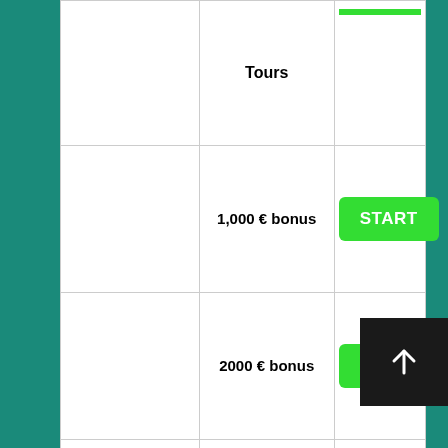|  | Bonus/Tours | Action |
| --- | --- | --- |
|  | Tours | START |
|  | 1,000 € bonus | START |
|  | 2000 € bonus | START |
|  | 2000 € bonus | START |
|  |  |  |